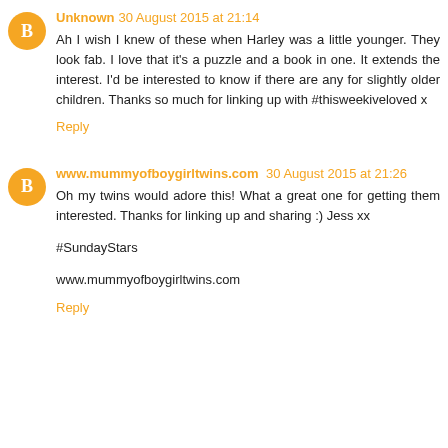Unknown 30 August 2015 at 21:14
Ah I wish I knew of these when Harley was a little younger. They look fab. I love that it's a puzzle and a book in one. It extends the interest. I'd be interested to know if there are any for slightly older children. Thanks so much for linking up with #thisweekiveloved x
Reply
www.mummyofboygirltwins.com 30 August 2015 at 21:26
Oh my twins would adore this! What a great one for getting them interested. Thanks for linking up and sharing :) Jess xx
#SundayStars
www.mummyofboygirltwins.com
Reply